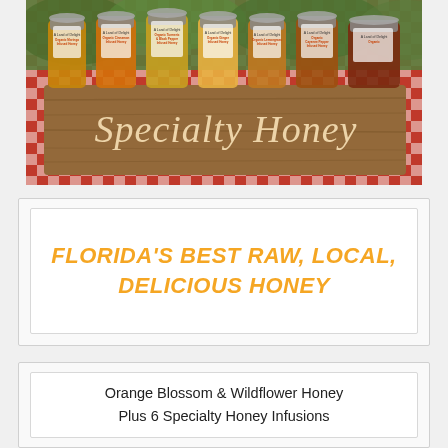[Figure (photo): A wooden crate sign reading 'Specialty Honey' in cream script lettering, displayed on a red and white checkered tablecloth with multiple jars of infused honey (Organic Moringa, Organic Cinnamon, Organic Turmeric & Black Pepper, Organic Ginger, Organic Lemongrass, Organic Cayenne Pepper) arranged behind it.]
FLORIDA'S BEST RAW, LOCAL, DELICIOUS HONEY
Orange Blossom & Wildflower Honey
Plus 6 Specialty Honey Infusions